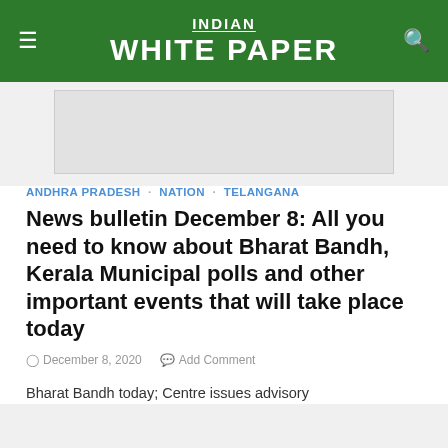INDIAN WHITE PAPER
[Figure (other): Advertisement placeholder banner]
ANDHRA PRADESH · NATION · TELANGANA
News bulletin December 8: All you need to know about Bharat Bandh, Kerala Municipal polls and other important events that will take place today
December 8, 2020   Add Comment
Bharat Bandh today; Centre issues advisory